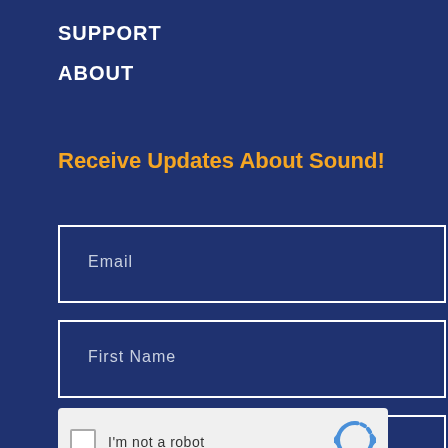SUPPORT
ABOUT
Receive Updates About Sound!
Email
First Name
Last Name
[Figure (other): reCAPTCHA widget with checkbox, 'I'm not a robot' text, and reCAPTCHA logo icon]